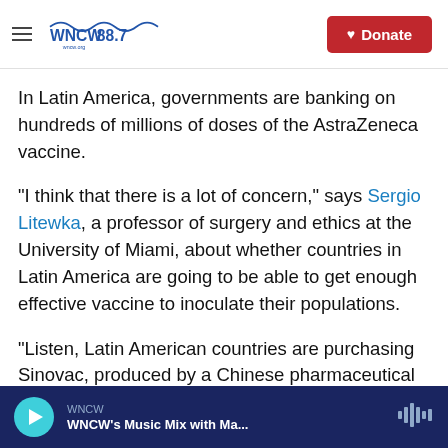WNCW 88.7 | Donate
In Latin America, governments are banking on hundreds of millions of doses of the AstraZeneca vaccine.
"I think that there is a lot of concern," says Sergio Litewka, a professor of surgery and ethics at the University of Miami, about whether countries in Latin America are going to be able to get enough effective vaccine to inoculate their populations.
"Listen, Latin American countries are purchasing Sinovac, produced by a Chinese pharmaceutical company. Sinovac has a 50% efficacy," he says –
WNCW | WNCW's Music Mix with Ma...